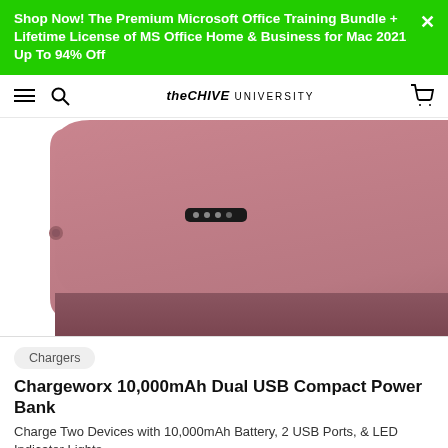Shop Now! The Premium Microsoft Office Training Bundle + Lifetime License of MS Office Home & Business for Mac 2021 Up To 94% Off
[Figure (screenshot): Navigation bar with hamburger menu, search icon, theCHIVE UNIVERSITY logo, and cart icon]
[Figure (photo): Rose gold Chargeworx 10,000mAh Dual USB Compact Power Bank showing textured top surface with LED indicator and USB ports on the bottom edge]
Chargers
Chargeworx 10,000mAh Dual USB Compact Power Bank
Charge Two Devices with 10,000mAh Battery, 2 USB Ports, & LED Indicator Lights...